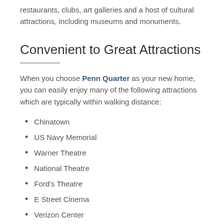restaurants, clubs, art galleries and a host of cultural attractions, including museums and monuments.
Convenient to Great Attractions
When you choose Penn Quarter as your new home, you can easily enjoy many of the following attractions which are typically within walking distance:
Chinatown
US Navy Memorial
Warner Theatre
National Theatre
Ford's Theatre
E Street Cinema
Verizon Center